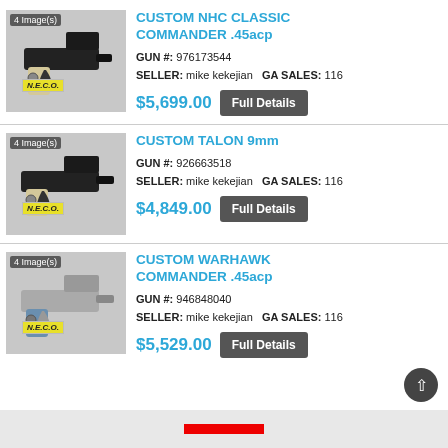[Figure (photo): Photo of Custom NHC Classic Commander .45acp pistol with cream grips on display stand with N.E.C.O. tag. Label: 4 Image(s).]
CUSTOM NHC CLASSIC COMMANDER .45acp
GUN #: 976173544
SELLER: mike kekejian   GA SALES: 116
$5,699.00   Full Details
[Figure (photo): Photo of Custom Talon 9mm pistol with cream grips on display stand with N.E.C.O. tag. Label: 4 Image(s).]
CUSTOM TALON 9mm
GUN #: 926663518
SELLER: mike kekejian   GA SALES: 116
$4,849.00   Full Details
[Figure (photo): Photo of Custom Warhawk Commander .45acp pistol with decorative grips on display stand with N.E.C.O. tag. Label: 4 Image(s).]
CUSTOM WARHAWK COMMANDER .45acp
GUN #: 946848040
SELLER: mike kekejian   GA SALES: 116
$5,529.00   Full Details